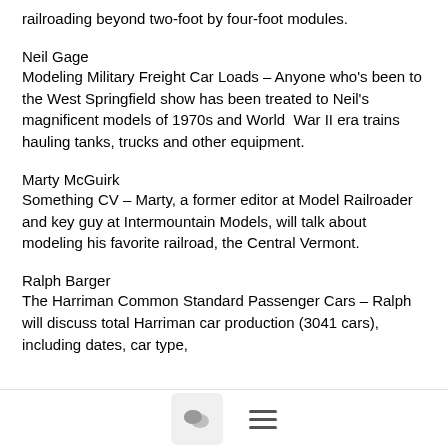railroading beyond two-foot by four-foot modules.
Neil Gage
Modeling Military Freight Car Loads – Anyone who's been to the West Springfield show has been treated to Neil's magnificent models of 1970s and World War II era trains hauling tanks, trucks and other equipment.
Marty McGuirk
Something CV – Marty, a former editor at Model Railroader and key guy at Intermountain Models, will talk about modeling his favorite railroad, the Central Vermont.
Ralph Barger
The Harriman Common Standard Passenger Cars – Ralph will discuss total Harriman car production (3041 cars), including dates, car type,
[Figure (other): Chat bubble icon button and hamburger menu icon in a bottom navigation bar]